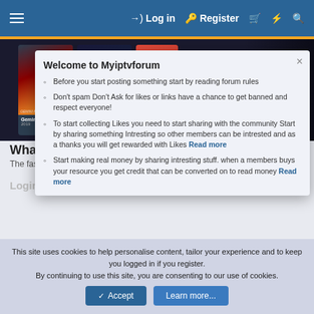≡  Log in  Register  🛒  ⚡  🔍
[Figure (screenshot): Movie thumbnails including Gemini Man 2019 and Fast & Furious movie covers in a dark strip]
What is TeaTV?
The fastest, easiest way to watch movies and shows.
Login? No need.
Welcome to Myiptvforum
Before you start posting something start by reading forum rules
Don't spam Don't Ask for likes or links have a chance to get banned and respect everyone!
To start collecting Likes you need to start sharing with the community Start by sharing something Intresting so other members can be intrested and as a thanks you will get rewarded with Likes  Read more
Start making real money by sharing intresting stuff. when a members buys your resource you get credit that can be converted on to read money  Read more
This site uses cookies to help personalise content, tailor your experience and to keep you logged in if you register.
By continuing to use this site, you are consenting to our use of cookies.